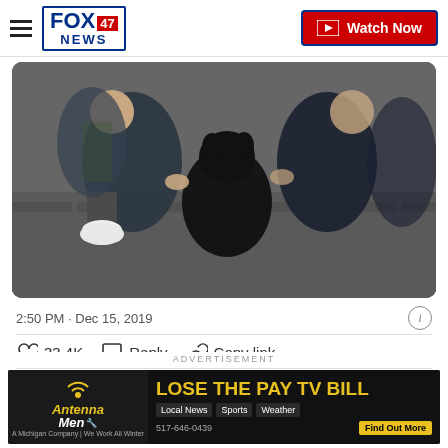FOX 47 NEWS | Watch Now
[Figure (photo): A black dog surrounded by several people crouching down, petting the dog on an outdoor brick/stone surface]
2:50 PM · Dec 15, 2019
♡ 33.4K   Reply   Copy link
Read 328 replies
CLOSE
ADVERTISEMENT
[Figure (infographic): Antenna Men advertisement banner: LOSE THE PAY TV BILL. Local News, Sports, Weather. A Michigan Company | We Work All Winter. 517-646-0439. Find Out More.]